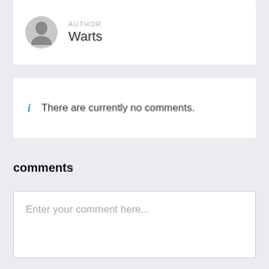AUTHOR
Warts
i  There are currently no comments.
comments
Enter your comment here...